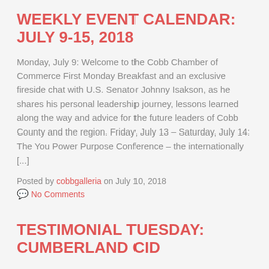WEEKLY EVENT CALENDAR: JULY 9-15, 2018
Monday, July 9: Welcome to the Cobb Chamber of Commerce First Monday Breakfast and an exclusive fireside chat with U.S. Senator Johnny Isakson, as he shares his personal leadership journey, lessons learned along the way and advice for the future leaders of Cobb County and the region. Friday, July 13 – Saturday, July 14: The You Power Purpose Conference – the internationally [...]
Posted by cobbgalleria on July 10, 2018
No Comments
TESTIMONIAL TUESDAY: CUMBERLAND CID
"I wanted to take the time to let you know what a